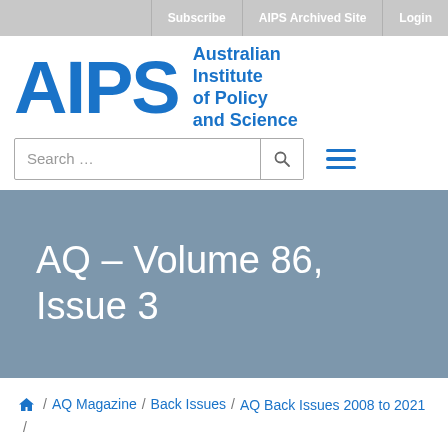Subscribe | AIPS Archived Site | Login
[Figure (logo): AIPS logo with large blue letters 'AIPS' and text 'Australian Institute of Policy and Science' to the right]
AQ – Volume 86, Issue 3
/ AQ Magazine / Back Issues / AQ Back Issues 2008 to 2021 /